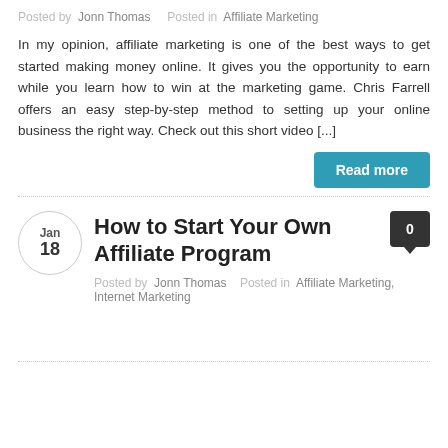Posted by  Jonn Thomas    Posted in  Affiliate Marketing
In my opinion, affiliate marketing is one of the best ways to get started making money online. It gives you the opportunity to earn while you learn how to win at the marketing game. Chris Farrell offers an easy step-by-step method to setting up your online business the right way. Check out this short video [...]
Read more
How to Start Your Own Affiliate Program
Posted by  Jonn Thomas    Posted in  Affiliate Marketing, Internet Marketing